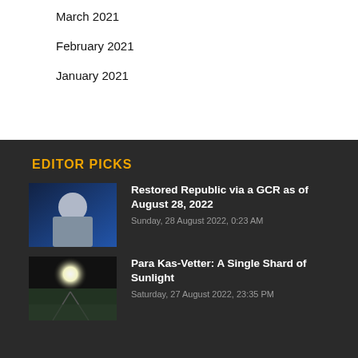March 2021
February 2021
January 2021
EDITOR PICKS
Restored Republic via a GCR as of August 28, 2022
Sunday, 28 August 2022, 0:23 AM
Para Kas-Vetter: A Single Shard of Sunlight
Saturday, 27 August 2022, 23:35 PM